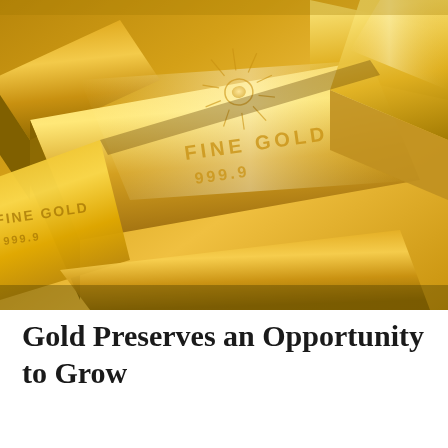[Figure (photo): Close-up photograph of multiple gold bullion bars stacked together. The bars are engraved with 'FINE GOLD 999.9' and feature a radiant sun emblem. The gold bars have a warm, lustrous golden color with reflective surfaces.]
Gold Preserves an Opportunity to Grow